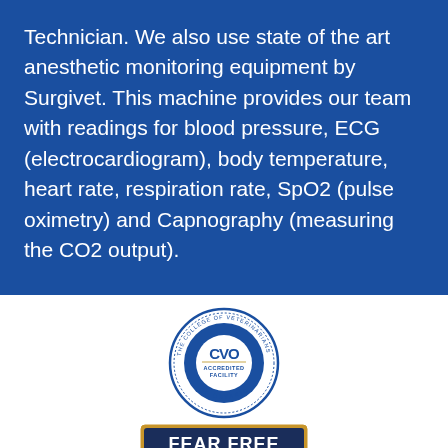Technician. We also use state of the art anesthetic monitoring equipment by Surgivet. This machine provides our team with readings for blood pressure, ECG (electrocardiogram), body temperature, heart rate, respiration rate, SpO2 (pulse oximetry) and Capnography (measuring the CO2 output).
[Figure (logo): CVO (College of Veterinarians of Ontario) Accredited Facility circular badge/seal in blue and white]
[Figure (logo): Fear Free Certified Professional badge with dark blue background, orange accent ribbon, and gold border]